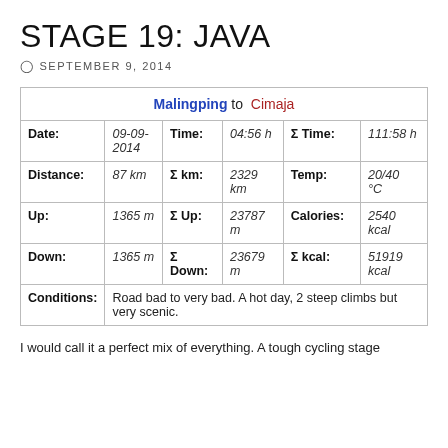STAGE 19: JAVA
SEPTEMBER 9, 2014
| Malingping to Cimaja |
| --- |
| Date: | 09-09-2014 | Time: | 04:56 h | Σ Time: | 111:58 h |
| Distance: | 87 km | Σ km: | 2329 km | Temp: | 20/40 °C |
| Up: | 1365 m | Σ Up: | 23787 m | Calories: | 2540 kcal |
| Down: | 1365 m | Σ Down: | 23679 m | Σ kcal: | 51919 kcal |
| Conditions: | Road bad to very bad. A hot day, 2 steep climbs but very scenic. |  |  |  |  |
I would call it a perfect mix of everything. A tough cycling stage